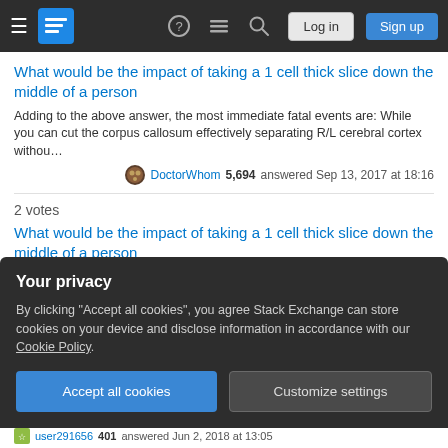Stack Exchange navigation bar with Log in and Sign up buttons
What would be the impact of taking a 1 cell thick slice down the middle of a person
Adding to the above answer, the most immediate fatal events are: While you can cut the corpus callosum effectively separating R/L cerebral cortex withou…
DoctorWhom 5,694 answered Sep 13, 2017 at 18:16
2 votes
What would be the impact of taking a 1 cell thick slice down the middle of a person
A person is not a loaf of bread, but a network of organs at various positions that depend upon each other. What you are basically asking, would damage…
Dan Chase 121 answered Sep 13, 2017 at 14:21
Your privacy
By clicking "Accept all cookies", you agree Stack Exchange can store cookies on your device and disclose information in accordance with our Cookie Policy.
Accept all cookies
Customize settings
user291656 401 answered Jun 2, 2018 at 13:05